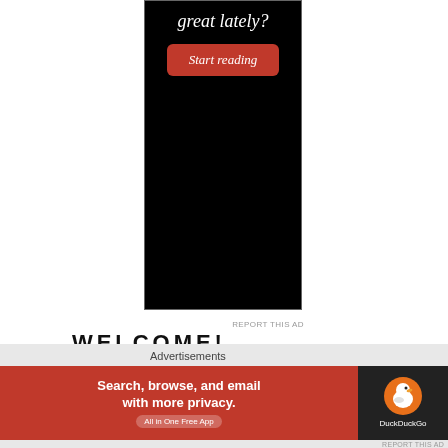[Figure (photo): Advertisement banner: black background with white italic text 'great lately?' and a red rounded button labeled 'Start reading']
REPORT THIS AD
WELCOME!
[Figure (other): Close/dismiss button (circled X) on the right side]
Advertisements
[Figure (other): DuckDuckGo advertisement banner: orange-red left side with text 'Search, browse, and email with more privacy. All in One Free App' and dark right side with DuckDuckGo duck logo]
REPORT THIS AD